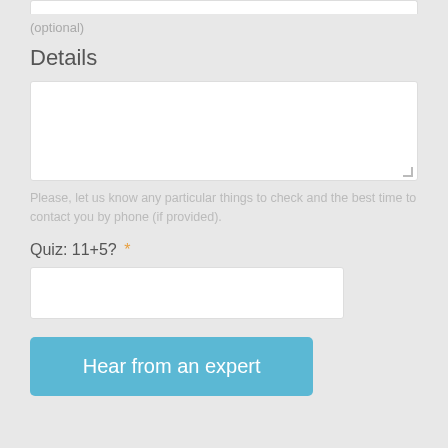(optional)
Details
Please, let us know any particular things to check and the best time to contact you by phone (if provided).
Quiz: 11+5? *
Hear from an expert